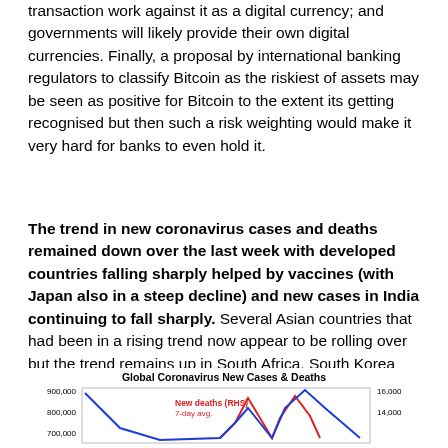transaction work against it as a digital currency; and governments will likely provide their own digital currencies. Finally, a proposal by international banking regulators to classify Bitcoin as the riskiest of assets may be seen as positive for Bitcoin to the extent its getting recognised but then such a risk weighting would make it very hard for banks to even hold it.
The trend in new coronavirus cases and deaths remained down over the last week with developed countries falling sharply helped by vaccines (with Japan also in a steep decline) and new cases in India continuing to fall sharply. Several Asian countries that had been in a rising trend now appear to be rolling over but the trend remains up in South Africa, South Korea and in some South American countries.
[Figure (continuous-plot): Line chart showing global coronavirus new cases (blue line, LHS axis up to 900,000) and new deaths 7-day avg (red line, RHS axis up to 16,000). Chart is partially cut off at the bottom of the page.]